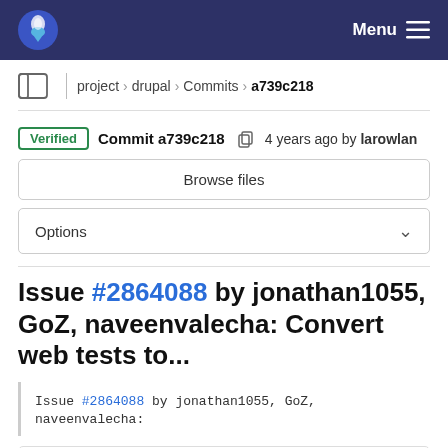Menu
project › drupal › Commits › a739c218
Verified  Commit a739c218  4 years ago by larowlan
Browse files
Options
Issue #2864088 by jonathan1055, GoZ, naveenvalecha: Convert web tests to...
Issue #2864088 by jonathan1055, GoZ, naveenvalecha:
parent 8cec5c8b